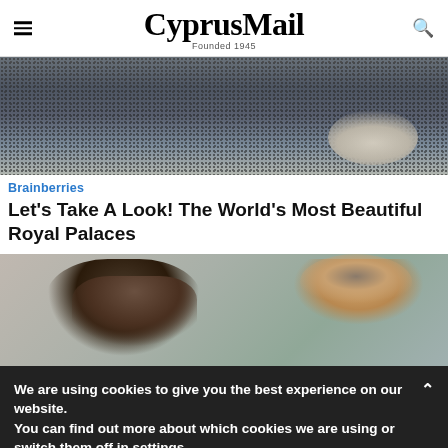CyprusMail — Founded 1945
[Figure (photo): Aerial view of a massive crowd gathered around a large outdoor plaza or religious site]
Brainberries
Let's Take A Look! The World's Most Beautiful Royal Palaces
[Figure (photo): A man and a woman looking upward, appearing surprised, from a TV show or movie]
We are using cookies to give you the best experience on our website.
You can find out more about which cookies we are using or switch them off in settings.
Accept